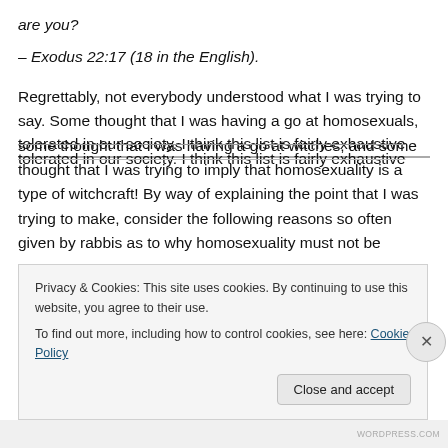are you?
– Exodus 22:17 (18 in the English).
Regrettably, not everybody understood what I was trying to say. Some thought that I was having a go at homosexuals, some thought that I was having a go at witches, and some thought that I was trying to imply that homosexuality is a type of witchcraft! By way of explaining the point that I was trying to make, consider the following reasons so often given by rabbis as to why homosexuality must not be tolerated in our society. I think this list is fairly exhaustive...
Privacy & Cookies: This site uses cookies. By continuing to use this website, you agree to their use.
To find out more, including how to control cookies, see here: Cookie Policy
Close and accept